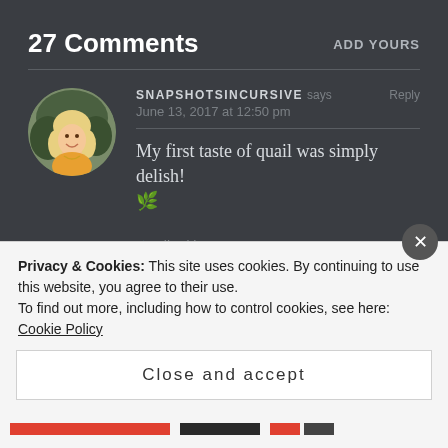27 Comments
ADD YOURS
SNAPSHOTSINCURSIVE says Reply
June 13, 2017 at 12:50 pm
My first taste of quail was simply delish! 🌿
★ Liked by 1 person
Privacy & Cookies: This site uses cookies. By continuing to use this website, you agree to their use.
To find out more, including how to control cookies, see here: Cookie Policy
Close and accept